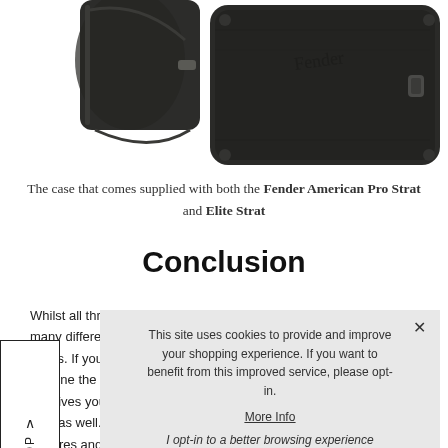[Figure (photo): Photo of a dark guitar case (Fender branded), shown from two angles — a corner view from the top-left and a side/back view on the right.]
The case that comes supplied with both the Fender American Pro Strat and Elite Strat
Conclusion
Whilst all three of these models share similarities, there are many differences b[etween each of the] Strats. If you wan[t...] sic tone the gu[itar...] – it gives you [...] vers as well. Th[e...] features and gives [...] switching system [...] also please old sch[ool players...] American Special [is great for it's a slightly heavier, but less...]
This site uses cookies to provide and improve your shopping experience. If you want to benefit from this improved service, please opt-in.
More Info
I opt-in to a better browsing experience
Accept Cookies